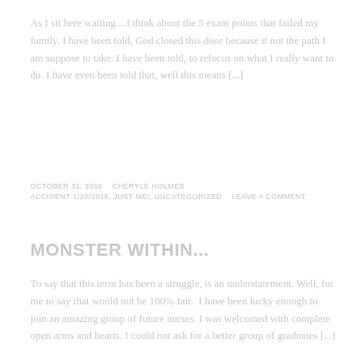As I sit here waiting....I think about the 5 exam points that failed my family. I have been told, God closed this door because it not the path I am suppose to take. I have been told, to refocus on what I really want to do. I have even been told that, well this means [...]
OCTOBER 31, 2016   CHERYLE HOLMES
ACCIDENT 1/20/2016, JUST ME!, UNCATEGORIZED   LEAVE A COMMENT
MONSTER WITHIN...
To say that this term has been a struggle, is an understatement. Well, for me to say that would not be 100% fair.  I have been lucky enough to join an amazing group of future nurses. I was welcomed with complete open arms and hearts. I could not ask for a better group of graduates [...]